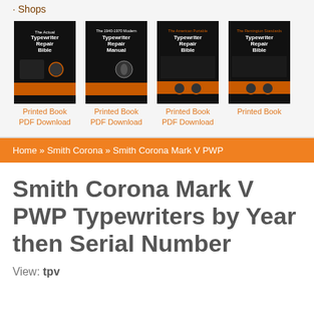· Shops
[Figure (illustration): Four typewriter repair book covers displayed in a row]
Printed Book
PDF Download
Printed Book
PDF Download
Printed Book
PDF Download
Printed Book
Home » Smith Corona » Smith Corona Mark V PWP
Smith Corona Mark V PWP Typewriters by Year then Serial Number
View: tpv